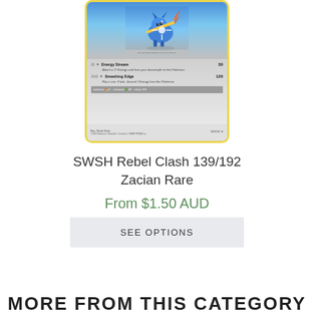[Figure (illustration): Pokemon trading card: SWSH Rebel Clash 139/192 Zacian Rare. Card shows Zacian (blue wolf Pokemon with sword) attacking, with moves Energy Stream (30 damage) and Smashing Edge (120 damage). Yellow border card.]
SWSH Rebel Clash 139/192
Zacian Rare
From $1.50 AUD
SEE OPTIONS
MORE FROM THIS CATEGORY